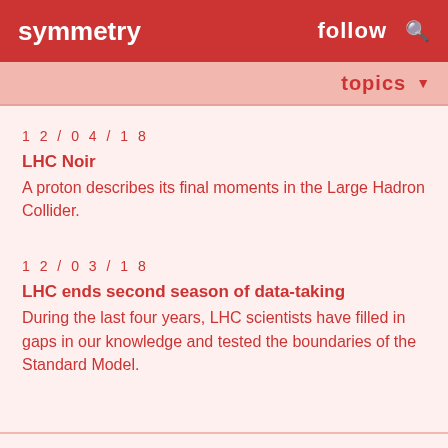symmetry   follow
topics
12/04/18
LHC Noir
A proton describes its final moments in the Large Hadron Collider.
12/03/18
LHC ends second season of data-taking
During the last four years, LHC scientists have filled in gaps in our knowledge and tested the boundaries of the Standard Model.